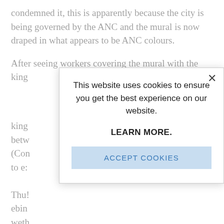condemned it, this is apparently because the city is being governed by the ANC and the mural is now draped in what appears to be ANC colours.
After seeing workers covering the mural with the king from the corner of Bolton of Becker (Brand) Street between...
This website uses cookies to ensure you get the best experience on our website.
LEARN MORE.
ACCEPT COOKIES
Thul... ebin... weth... lyad... of al... saw... it al... wha...